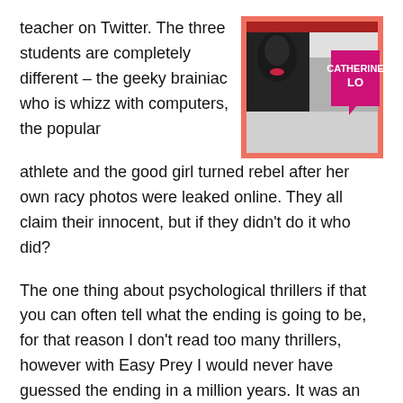teacher on Twitter. The three students are completely different – the geeky brainiac who is whizz with computers, the popular athlete and the good girl turned rebel after her own racy photos were leaked online. They all claim their innocent, but if they didn't do it who did?
[Figure (photo): Book cover of 'Easy Prey' by Catherine Lo, showing a collage-style image with a woman's face in black and white and a pink speech bubble graphic with the author's name in magenta text on a salmon/coral colored background.]
The one thing about psychological thrillers if that you can often tell what the ending is going to be, for that reason I don't read too many thrillers, however with Easy Prey I would never have guessed the ending in a million years. It was an excellent twist and I definitely raced through this intense book because I was dying to know how it was going to end.
I really liked the characters. The story was told in alternating points of view with each of the three students and it was